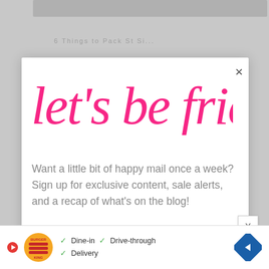[Figure (screenshot): Website screenshot showing a newsletter signup modal overlay with 'let's be friends.' handwritten-style title in pink, body text about happy mail, email input field, yellow SUBSCRIBE button, and a Burger King advertisement banner at the bottom.]
let's be friends.
Want a little bit of happy mail once a week? Sign up for exclusive content, sale alerts, and a recap of what's on the blog!
Email address
SUBSCRIBE
[Figure (screenshot): Burger King advertisement banner showing logo, Dine-in, Drive-through, Delivery options with checkmarks, and navigation arrow icon.]